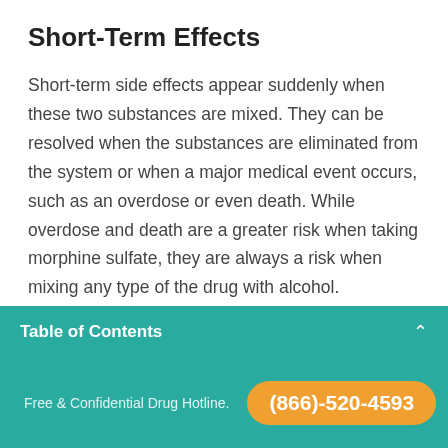Short-Term Effects
Short-term side effects appear suddenly when these two substances are mixed. They can be resolved when the substances are eliminated from the system or when a major medical event occurs, such as an overdose or even death. While overdose and death are a greater risk when taking morphine sulfate, they are always a risk when mixing any type of the drug with alcohol.
Table of Contents
Free & Confidential Drug Hotline. (866)-520-4593